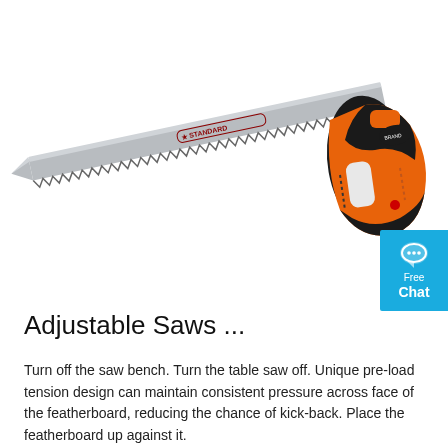[Figure (photo): A hand saw with a long silver serrated blade labeled 'STANDARD' with a star logo, and an orange and black ergonomic handle, shown diagonally on a white background.]
Adjustable Saws ...
Turn off the saw bench. Turn the table saw off. Unique pre-load tension design can maintain consistent pressure across face of the featherboard, reducing the chance of kick-back. Place the featherboard up against it.